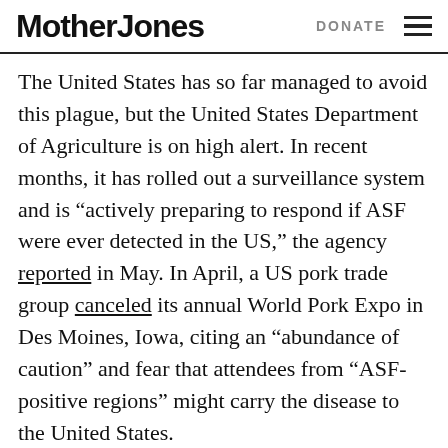Mother Jones  DONATE
The United States has so far managed to avoid this plague, but the United States Department of Agriculture is on high alert. In recent months, it has rolled out a surveillance system and is “actively preparing to respond if ASF were ever detected in the US,” the agency reported in May. In April, a US pork trade group canceled its annual World Pork Expo in Des Moines, Iowa, citing an “abundance of caution” and fear that attendees from “ASF-positive regions” might carry the disease to the United States.
But China’s struggle with the infection is already roiling the US farm belt. Fewer pigs to fatten in